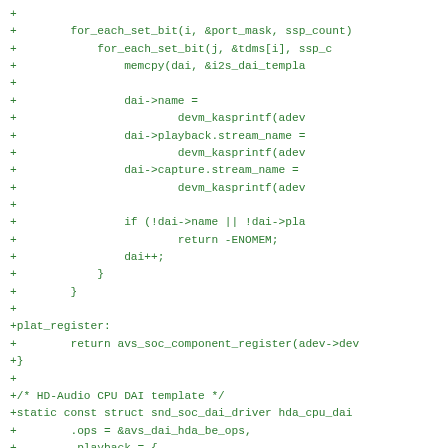[Figure (screenshot): Source code diff snippet in green monospace font showing C code with for_each_set_bit loops, memcpy, dai->name, dai->playback.stream_name, dai->capture.stream_name assignments, devm_kasprintf calls, if (!dai->name || !dai->pla...) check, return -ENOMEM, dai++, closing braces, plat_register label, return avs_soc_component_register, closing brace, HD-Audio CPU DAI template comment, static const struct snd_soc_dai_driver hda_cpu_dai, .ops and .playback fields]